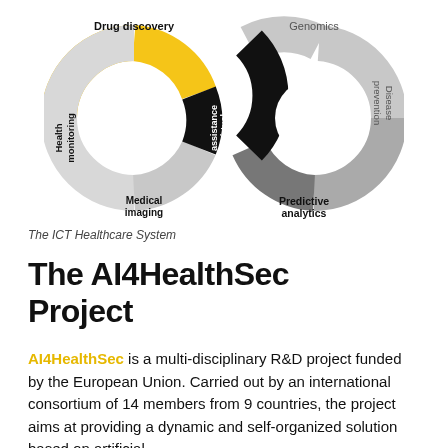[Figure (infographic): Double donut/infinity-loop diagram showing ICT Healthcare System segments. Left donut: Drug discovery (yellow/gold, top), Health monitoring (light gray, left, rotated text), Medical imaging (light gray, bottom). Right donut: Genomics (light gray, top), Disease prevention (medium gray, right, rotated text), Predictive analytics (dark gray, bottom). The two donuts overlap at the center with a black connecting arc labeled 'Virtual assistance' in white rotated text.]
The ICT Healthcare System
The AI4HealthSec Project
AI4HealthSec is a multi-disciplinary R&D project funded by the European Union. Carried out by an international consortium of 14 members from 9 countries, the project aims at providing a dynamic and self-organized solution based on artificial